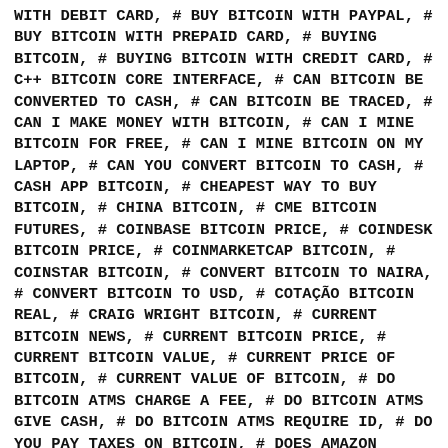WITH DEBIT CARD, # BUY BITCOIN WITH PAYPAL, # BUY BITCOIN WITH PREPAID CARD, # BUYING BITCOIN, # BUYING BITCOIN WITH CREDIT CARD, # C++ BITCOIN CORE INTERFACE, # CAN BITCOIN BE CONVERTED TO CASH, # CAN BITCOIN BE TRACED, # CAN I MAKE MONEY WITH BITCOIN, # CAN I MINE BITCOIN FOR FREE, # CAN I MINE BITCOIN ON MY LAPTOP, # CAN YOU CONVERT BITCOIN TO CASH, # CASH APP BITCOIN, # CHEAPEST WAY TO BUY BITCOIN, # CHINA BITCOIN, # CME BITCOIN FUTURES, # COINBASE BITCOIN PRICE, # COINDESK BITCOIN PRICE, # COINMARKETCAP BITCOIN, # COINSTAR BITCOIN, # CONVERT BITCOIN TO NAIRA, # CONVERT BITCOIN TO USD, # COTAÇÃO BITCOIN REAL, # CRAIG WRIGHT BITCOIN, # CURRENT BITCOIN NEWS, # CURRENT BITCOIN PRICE, # CURRENT BITCOIN VALUE, # CURRENT PRICE OF BITCOIN, # CURRENT VALUE OF BITCOIN, # DO BITCOIN ATMS CHARGE A FEE, # DO BITCOIN ATMS GIVE CASH, # DO BITCOIN ATMS REQUIRE ID, # DO YOU PAY TAXES ON BITCOIN, # DOES AMAZON ACCEPT BITCOIN, # DOLLAR BITCOIN EXCHANGE RATE, # DOLLAR TO BITCOIN, #